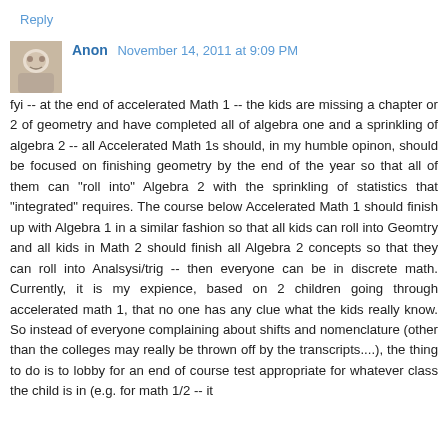Reply
Anon November 14, 2011 at 9:09 PM
fyi -- at the end of accelerated Math 1 -- the kids are missing a chapter or 2 of geometry and have completed all of algebra one and a sprinkling of algebra 2 -- all Accelerated Math 1s should, in my humble opinon, should be focused on finishing geometry by the end of the year so that all of them can "roll into" Algebra 2 with the sprinkling of statistics that "integrated" requires. The course below Accelerated Math 1 should finish up with Algebra 1 in a similar fashion so that all kids can roll into Geomtry and all kids in Math 2 should finish all Algebra 2 concepts so that they can roll into Analsysi/trig -- then everyone can be in discrete math. Currently, it is my expience, based on 2 children going through accelerated math 1, that no one has any clue what the kids really know. So instead of everyone complaining about shifts and nomenclature (other than the colleges may really be thrown off by the transcripts....), the thing to do is to lobby for an end of course test appropriate for whatever class the child is in (e.g. for math 1/2 -- it